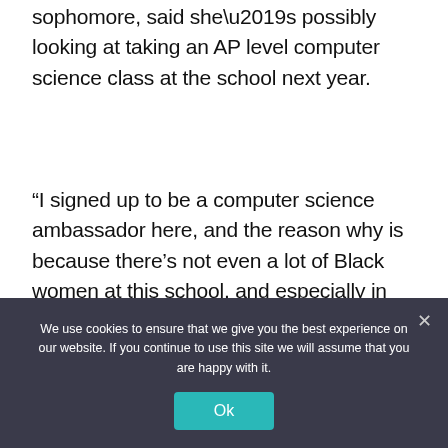sophomore, said she’s possibly looking at taking an AP level computer science class at the school next year.
“I signed up to be a computer science ambassador here, and the reason why is because there’s not even a lot of Black women at this school, and especially in computer science,” Santana said. “I do really like computer science a lot.”
Corricelli, who has a 13-year-old daughter,
We use cookies to ensure that we give you the best experience on our website. If you continue to use this site we will assume that you are happy with it.